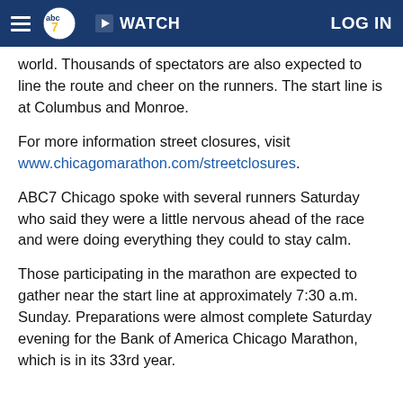ABC7 Chicago navigation bar with logo, WATCH, and LOG IN
world. Thousands of spectators are also expected to line the route and cheer on the runners. The start line is at Columbus and Monroe.
For more information street closures, visit www.chicagomarathon.com/streetclosures.
ABC7 Chicago spoke with several runners Saturday who said they were a little nervous ahead of the race and were doing everything they could to stay calm.
Those participating in the marathon are expected to gather near the start line at approximately 7:30 a.m. Sunday. Preparations were almost complete Saturday evening for the Bank of America Chicago Marathon, which is in its 33rd year.